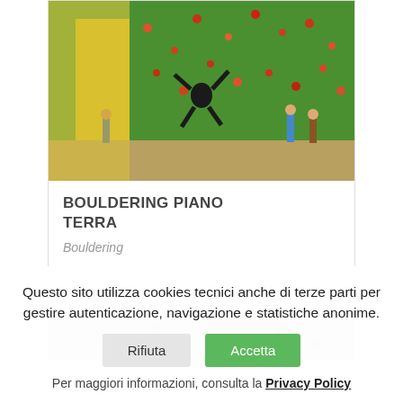[Figure (photo): Indoor bouldering gym with green climbing walls, yellow pillars, and a climber hanging from the overhang. Multiple people visible in the background.]
BOULDERING PIANO TERRA
Bouldering
[Figure (photo): Partial view of a second climbing wall photo strip, showing colorful holds on a grey wall.]
Questo sito utilizza cookies tecnici anche di terze parti per gestire autenticazione, navigazione e statistiche anonime.
Accetta
Rifiuta
Per maggiori informazioni, consulta la Privacy Policy